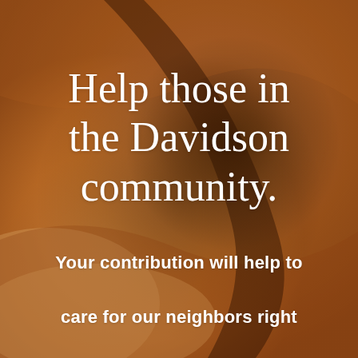[Figure (photo): Close-up photograph of rough stone or rock surface with warm brown, orange, and dark brown tones, forming a textured natural background.]
Help those in the Davidson community.
Your contribution will help to care for our neighbors right here in the community.